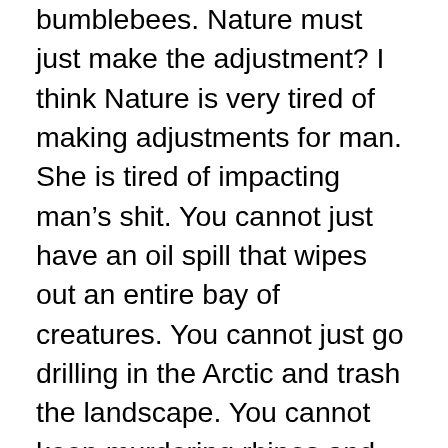bumblebees.  Nature must just make the adjustment?  I think Nature is very tired of making adjustments for man.  She is tired of impacting man's shit.  You cannot just have an oil spill that wipes out an entire bay of creatures.  You cannot just go drilling in the Arctic and trash the landscape.  You cannot keep murdering rhinos and lions with impunity.  Nature will not take much more of man's meddling.  She is getting fed up of his sticking his fingers into her every orifice.  Stop genetic modifications – it is not for man to bend Nature's say-so.  For god's sake.  Nature was perfect in her execution before man came along – and she will be perfect long after he has gone.  He should watch her with more awe – and show her far more respect.  Does this planet wonder why violent death is at an all-time high?  You get what you give.  Nature sees man's casual destruction of her majesty.  He is her ...